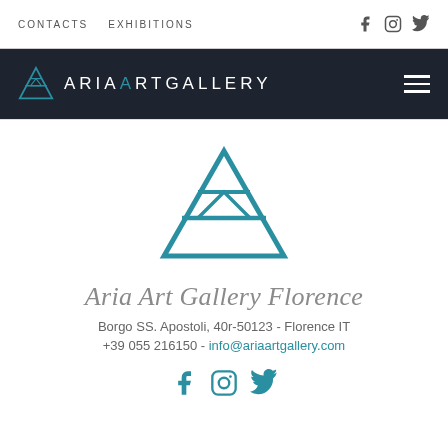CONTACTS   EXHIBITIONS
ARIA ART GALLERY
[Figure (logo): Aria Art Gallery teal logo mark — stylized A shape with diamond cutout]
Aria Art Gallery Florence
Borgo SS. Apostoli, 40r-50123 - Florence IT
+39 055 216150 - info@ariaartgallery.com
[Figure (illustration): Social media icons: Facebook, Instagram, Twitter in teal color]